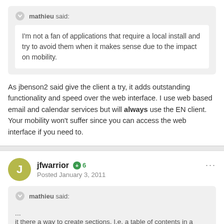mathieu said:
I'm not a fan of applications that require a local install and try to avoid them when it makes sense due to the impact on mobility.
As jbenson2 said give the client a try, it adds outstanding functionality and speed over the web interface. I use web based email and calendar services but will always use the EN client. Your mobility won't suffer since you can access the web interface if you need to.
jfwarrior +6 Posted January 3, 2011
mathieu said:
... it there a way to create sections, I.e. a table of contents in a note?